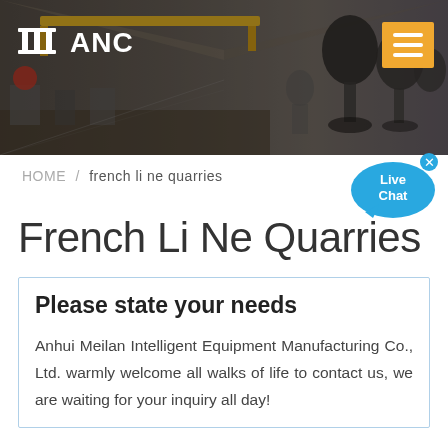[Figure (photo): Website header banner with ANC logo (pillar/building icon) on the left, white text 'ANC', orange hamburger menu button on top right. Background shows a blurred industrial/factory scene on the left and microphones/recording equipment on the right.]
HOME / french li ne quarries
[Figure (other): Live Chat speech bubble icon in blue with 'x' close button and 'Live Chat' text inside.]
French Li Ne Quarries
Please state your needs
Anhui Meilan Intelligent Equipment Manufacturing Co., Ltd. warmly welcome all walks of life to contact us, we are waiting for your inquiry all day!